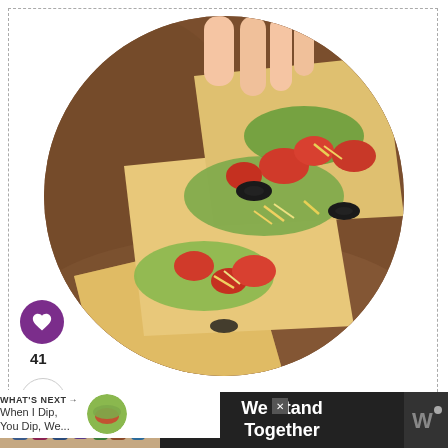[Figure (photo): Circular cropped photo of 7-layer dip flatbread topped with guacamole, diced tomatoes, shredded cheese, and black olives, held by a hand]
41
[Figure (photo): Small circular thumbnail of When I Dip You Dip dip recipe]
WHAT'S NEXT → When I Dip, You Dip, We...
er Dip Flatbread
An easier way to have 7-layer dip! All the layers
[Figure (photo): Advertisement banner with people standing together arms around each other and text 'We Stand Together']